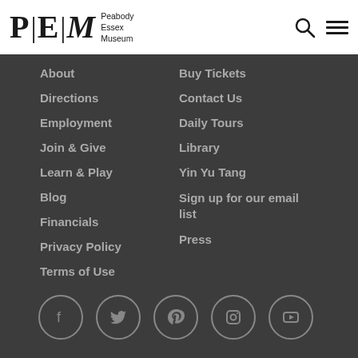[Figure (logo): Peabody Essex Museum logo with P|E|M text and wordmark]
About
Buy Tickets
Directions
Contact Us
Employment
Daily Tours
Join & Give
Library
Learn & Play
Yin Yu Tang
Blog
Sign up for our email list
Financials
Press
Privacy Policy
Terms of Use
[Figure (illustration): Social media icons row: Facebook, Twitter, Pinterest, Instagram, YouTube — each in a circle]